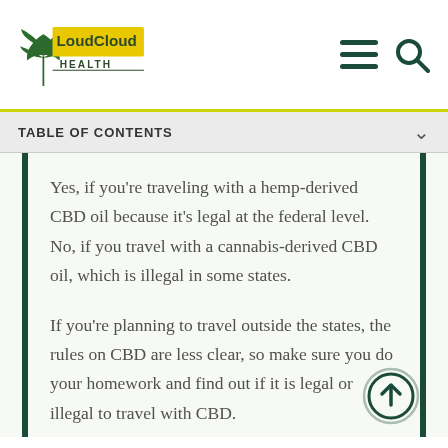LoudCloud Health
TABLE OF CONTENTS
Yes, if you're traveling with a hemp-derived CBD oil because it's legal at the federal level. No, if you travel with a cannabis-derived CBD oil, which is illegal in some states.
If you're planning to travel outside the states, the rules on CBD are less clear, so make sure you do your homework and find out if it is legal or illegal to travel with CBD.
For example, while CBD is legal in most European countries, the majority of European countries allow